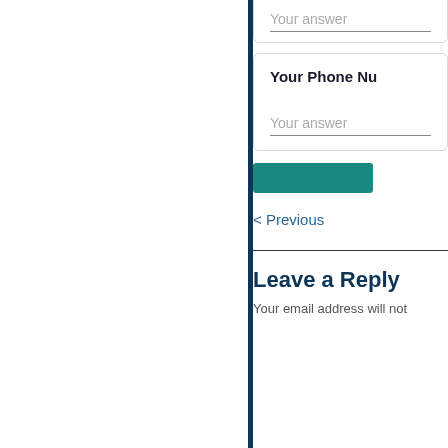[Figure (screenshot): Form card with 'Your answer' input field (first card, partially visible at top)]
[Figure (screenshot): Form card with label 'Your Phone Nu...' and 'Your answer' input field below]
[Figure (screenshot): Teal submit button]
< Previous
Leave a Reply
Your email address will not